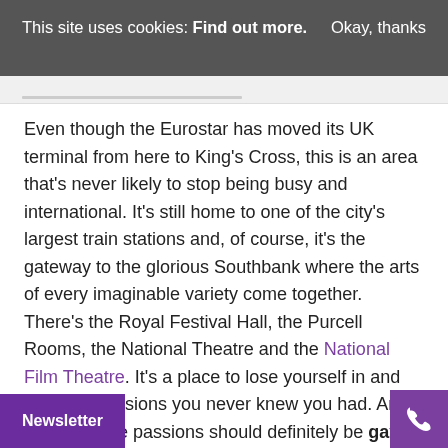This site uses cookies: Find out more.   Okay, thanks
Even though the Eurostar has moved its UK terminal from here to King's Cross, this is an area that's never likely to stop being busy and international. It's still home to one of the city's largest train stations and, of course, it's the gateway to the glorious Southbank where the arts of every imaginable variety come together. There's the Royal Festival Hall, the Purcell Rooms, the National Theatre and the National Film Theatre. It's a place to lose yourself in and discover passions you never knew you had. And among those passions should definitely be gay massage in Waterloo. Here's a thriving, throbbing part of the capital where the men are sexy and come in a range of styles and appearances. Any one of t
Newsletter